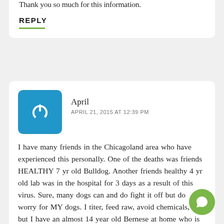Thank you so much for this information.
REPLY
April
APRIL 21, 2015 AT 12:39 PM
I have many friends in the Chicagoland area who have experienced this personally. One of the deaths was friends HEALTHY 7 yr old Bulldog. Another friends healthy 4 yr old lab was in the hospital for 3 days as a result of this virus. Sure, many dogs can and do fight it off but do worry for MY dogs. I titer, feed raw, avoid chemicals, etc but I have an almost 14 year old Bernese at home who is recovering from liver failure and an immunocompromised